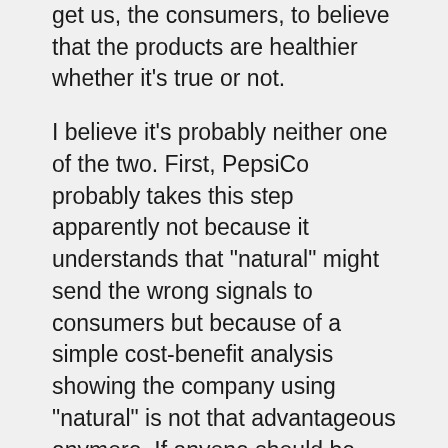get us, the consumers, to believe that the products are healthier whether it's true or not.
I believe it's probably neither one of the two. First, PepsiCo probably takes this step apparently not because it understands that "natural" might send the wrong signals to consumers but because of a simple cost-benefit analysis showing the company using "natural" is not that advantageous anymore. If anyone should be applauded here it's organizations like the Center for Science in the Public Interest that act as watchdogs and file lawsuits against companies that it feels are misusing